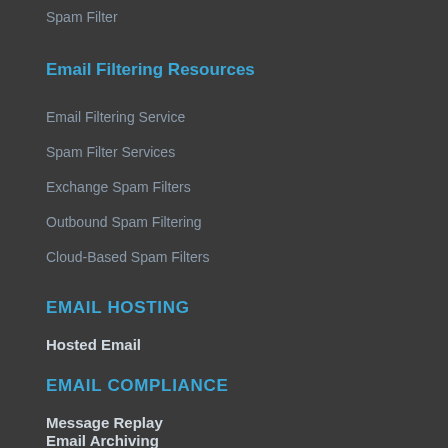Spam Filter
Email Filtering Resources
Email Filtering Service
Spam Filter Services
Exchange Spam Filters
Outbound Spam Filtering
Cloud-Based Spam Filters
EMAIL HOSTING
Hosted Email
EMAIL COMPLIANCE
Message Replay
Email Archiving